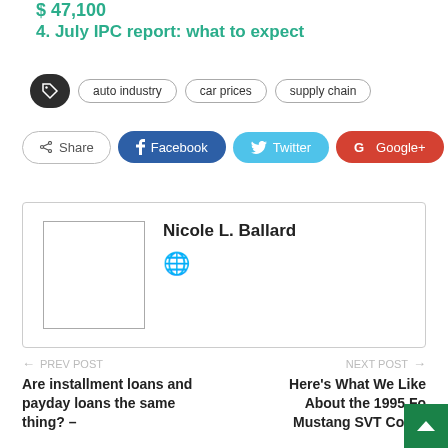$ 47,100
4. July IPC report: what to expect
[Figure (infographic): Tags row with tag icon and pills: auto industry, car prices, supply chain]
[Figure (infographic): Social share buttons: Share, Facebook, Twitter, Google+, plus button]
[Figure (infographic): Author box with placeholder image and name Nicole L. Ballard with globe icon]
Nicole L. Ballard
← PREV POST  Are installment loans and payday loans the same thing? –     NEXT POST →  Here's What We Like About the 1995 Fo Mustang SVT Cobra